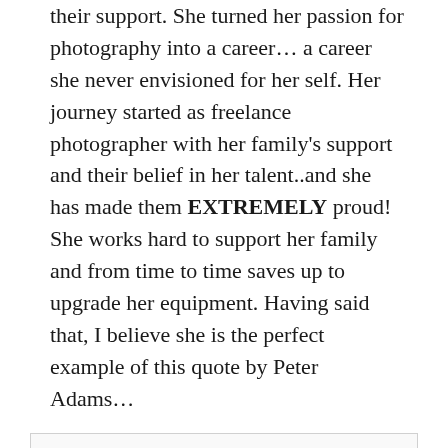their support. She turned her passion for photography into a career… a career she never envisioned for her self. Her journey started as freelance photographer with her family's support and their belief in her talent..and she has made them EXTREMELY proud! She works hard to support her family and from time to time saves up to upgrade her equipment. Having said that, I believe she is the perfect example of this quote by Peter Adams…
Photography is not about the camera, gadgets and gizmos. Photography is about photographers. A camera didn't make a good picture anymore than a